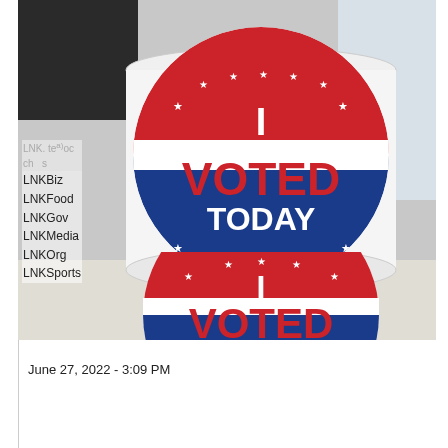[Figure (photo): A roll of 'I VOTED TODAY' stickers with red, white, and blue patriotic design featuring stars, photographed on a light surface.]
LNKBiz
LNKFood
LNKGov
LNKMedia
LNKOrg
LNKSports
June 27, 2022 - 3:09 PM